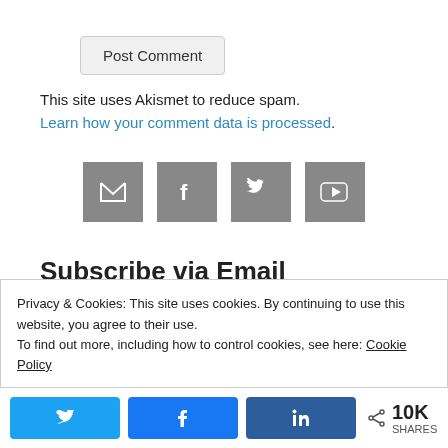Post Comment
This site uses Akismet to reduce spam. Learn how your comment data is processed.
[Figure (other): Four social media icon buttons: email (envelope), Facebook, Twitter, YouTube — all gray squares with white icons]
Subscribe via Email
We'll notify you by email when a new post is
Privacy & Cookies: This site uses cookies. By continuing to use this website, you agree to their use. To find out more, including how to control cookies, see here: Cookie Policy
Twitter share button, Facebook share button, LinkedIn share button, < 10K SHARES